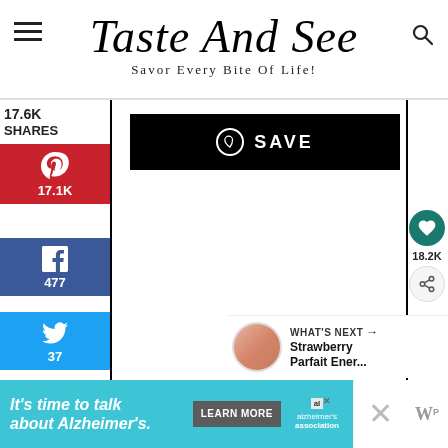Taste And See — Savor Every Bite Of Life!
17.6K SHARES
[Figure (infographic): Pinterest social share button with 17.1K shares]
[Figure (infographic): Facebook social share button with 477 shares]
[Figure (infographic): Twitter social share button with 37 shares]
[Figure (infographic): Flipboard social share button]
[Figure (infographic): SAVE button (black) with heart icon]
[Figure (infographic): Heart/save action button circle with 18.2K count and share icon]
WHAT'S NEXT → Strawberry Parfait Ener...
It's time to talk about Alzheimer's. LEARN MORE